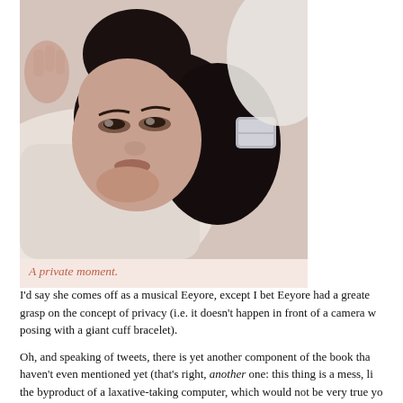[Figure (photo): A woman with dark hair lying down, resting her face on white fabric/pillow, wearing a large cuff bracelet, looking at the camera with a contemplative expression.]
A private moment.
I'd say she comes off as a musical Eeyore, except I bet Eeyore had a greater grasp on the concept of privacy (i.e. it doesn't happen in front of a camera while posing with a giant cuff bracelet).
Oh, and speaking of tweets, there is yet another component of the book that I haven't even mentioned yet (that's right, another one: this thing is a mess, like the byproduct of a laxative-taking computer, which would not be very true you of the computer according to Janet, but very true you of the computer according to me) -- the stories of Janet's friends, but more often, fans. These frequent as